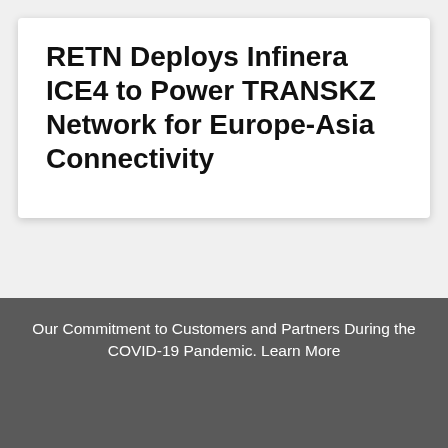RETN Deploys Infinera ICE4 to Power TRANSKZ Network for Europe-Asia Connectivity
Our Commitment to Customers and Partners During the COVID-19 Pandemic. Learn More
Infinera uses cookies to help give you the best experience on our site. By continuing, you consent to the use of these cookies. To learn more, view our privacy policy.